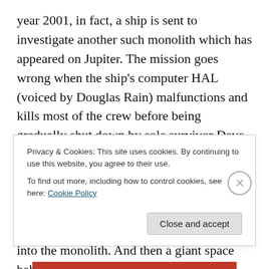year 2001, in fact, a ship is sent to investigate another such monolith which has appeared on Jupiter. The mission goes wrong when the ship's computer HAL (voiced by Douglas Rain) malfunctions and kills most of the crew before being gradually shut down by sole survivor Dave Bowman (Keir Dullea). This surprisingly touching sequence is probably the best loved of the film. Counterculture hippies of the time, however, preferred the psychedelic lightshow precipitated by Bowman flying into the monolith. And then a giant space baby appears, something which er... obviously needs no explanation.
Privacy & Cookies: This site uses cookies. By continuing to use this website, you agree to their use.
To find out more, including how to control cookies, see here: Cookie Policy